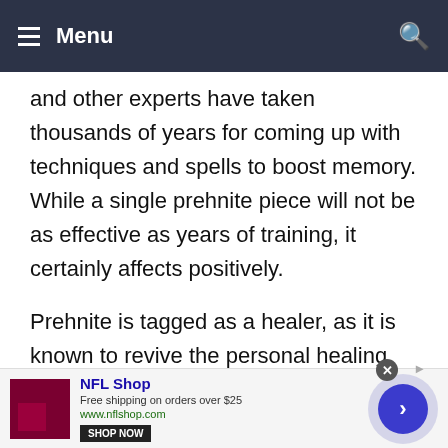≡ Menu
and other experts have taken thousands of years for coming up with techniques and spells to boost memory. While a single prehnite piece will not be as effective as years of training, it certainly affects positively.
Prehnite is tagged as a healer, as it is known to revive the personal healing atmosphere. Prehnite promotes a powerful sense of trust toward universally
[Figure (screenshot): NFL Shop advertisement banner with logo, text 'Free shipping on orders over $25', website www.nflshop.com, Shop Now button, navigation arrow circle button, and close button.]